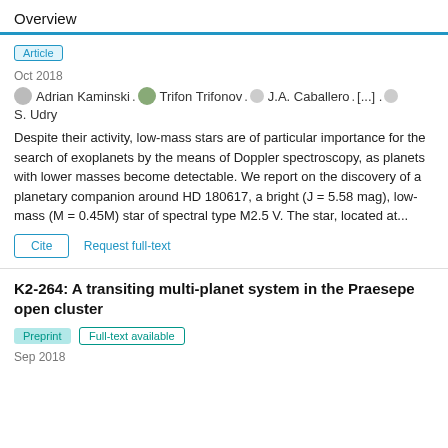Overview
Article
Oct 2018
Adrian Kaminski · Trifon Trifonov · J.A. Caballero · [...] · S. Udry
Despite their activity, low-mass stars are of particular importance for the search of exoplanets by the means of Doppler spectroscopy, as planets with lower masses become detectable. We report on the discovery of a planetary companion around HD 180617, a bright (J = 5.58 mag), low-mass (M = 0.45M) star of spectral type M2.5 V. The star, located at...
Cite   Request full-text
K2-264: A transiting multi-planet system in the Praesepe open cluster
Preprint   Full-text available
Sep 2018